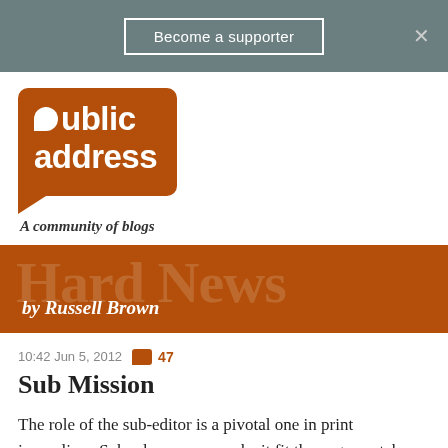Become a supporter
[Figure (logo): Public Address logo - brown speech bubble with 'public address' text in white, tagline 'A community of blogs']
[Figure (logo): Hard News banner - brown background with large watermark text 'Hard News' and byline 'by Russell Brown']
10:42 Jun 5, 2012  47
Sub Mission
The role of the sub-editor is a pivotal one in print journalism. Subs shape copy, make it fit the page, watch over it and, not uncommonly, save reporters and writers from